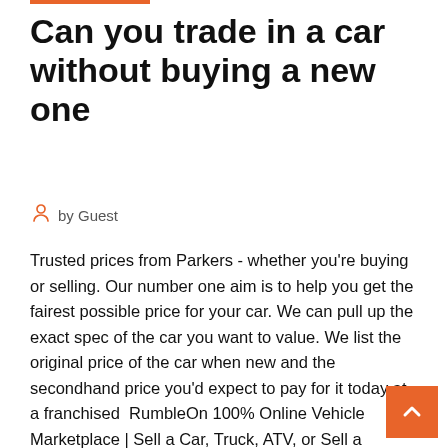Can you trade in a car without buying a new one
by Guest
Trusted prices from Parkers - whether you're buying or selling. Our number one aim is to help you get the fairest possible price for your car. We can pull up the exact spec of the car you want to value. We list the original price of the car when new and the secondhand price you'd expect to pay for it today at a franchised  RumbleOn 100% Online Vehicle Marketplace | Sell a Car, Truck, ATV, or Sell a Motorcycle in Minutes | Browse our Huge Selection of Vehicles | Trade Anything! If you would like to buy a used vehicle without the hassles of going from RumbleOn can help arrange shipment for your new vehicle straight to your door!
Say you're interested in getting a new car, but you still ha... paid off your old one. This is a common problem. Can you tra... in your old one if you still owe on it? In 2020 When you trade...